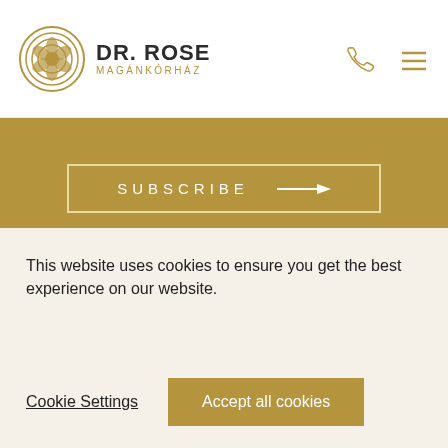[Figure (logo): Dr. Rose Magánkórház logo with rose emblem in gold/dark colors on white navigation bar]
[Figure (illustration): SUBSCRIBE button with arrow on gold background]
[Figure (logo): Dr. Rose Magánkórház large white logo on gold background]
Dr. Rose Magánkórház Kft.
1051 Budapest, Széchenyi tér 7/8.
This website uses cookies to ensure you get the best experience on our website.
Cookie Settings
Accept all cookies